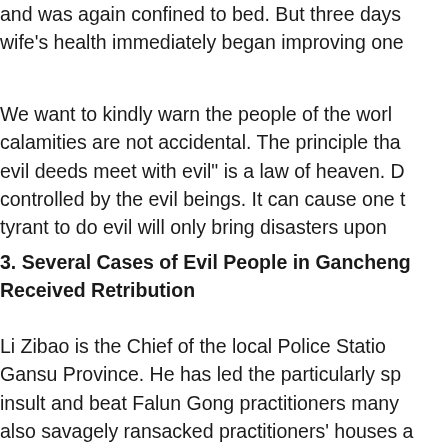and was again confined to bed. But three days wife's health immediately began improving one
We want to kindly warn the people of the world calamities are not accidental. The principle that evil deeds meet with evil" is a law of heaven. D controlled by the evil beings. It can cause one t tyrant to do evil will only bring disasters upon
3. Several Cases of Evil People in Gancheng Received Retribution
Li Zibao is the Chief of the local Police Station Gansu Province. He has led the particularly spi insult and beat Falun Gong practitioners many also savagely ransacked practitioners' houses a literature on numerous occasions. Recently, Li Gancheng Township. After drinking and gambl bullying the local people. That raised so much